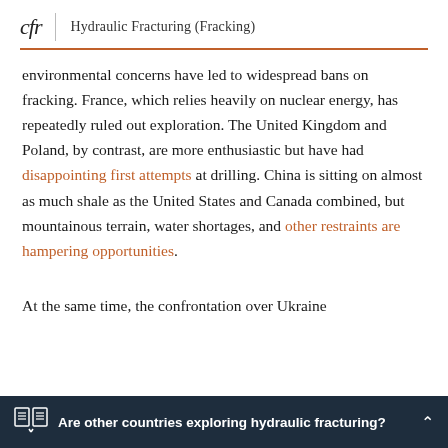cfr | Hydraulic Fracturing (Fracking)
environmental concerns have led to widespread bans on fracking. France, which relies heavily on nuclear energy, has repeatedly ruled out exploration. The United Kingdom and Poland, by contrast, are more enthusiastic but have had disappointing first attempts at drilling. China is sitting on almost as much shale as the United States and Canada combined, but mountainous terrain, water shortages, and other restraints are hampering opportunities.
At the same time, the confrontation over Ukraine
Are other countries exploring hydraulic fracturing?